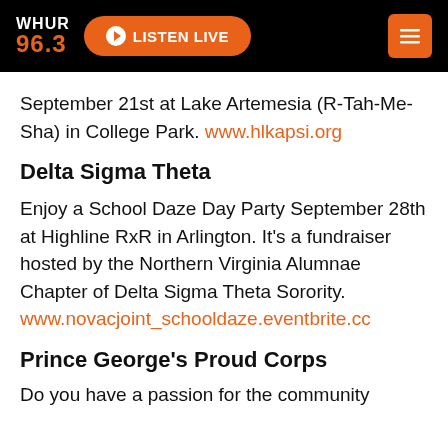WHUR 96.3 — LISTEN LIVE
September 21st at Lake Artemesia (R-Tah-Me-Sha) in College Park. www.hlkapsi.org
Delta Sigma Theta
Enjoy a School Daze Day Party September 28th at Highline RxR in Arlington. It's a fundraiser hosted by the Northern Virginia Alumnae Chapter of Delta Sigma Theta Sorority. www.novacjoint_schooldaze.eventbrite.cc
Prince George's Proud Corps
Do you have a passion for the community